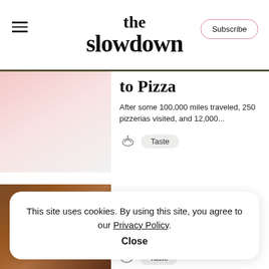the slowdown — Subscribe
to Pizza
After some 100,000 miles traveled, 250 pizzerias visited, and 12,000...
Taste
The Eye-Opening Adventure of Dinners in the Dark
This site uses cookies. By using this site, you agree to our Privacy Policy. Close
Taste